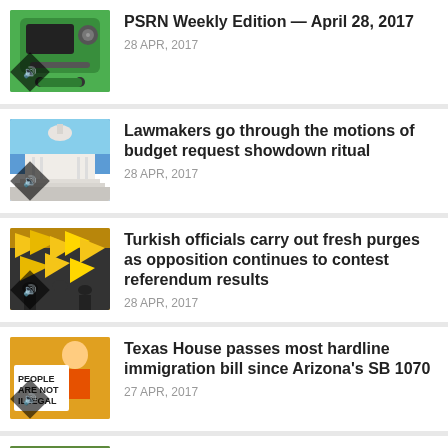PSRN Weekly Edition — April 28, 2017 | 28 APR, 2017
Lawmakers go through the motions of budget request showdown ritual | 28 APR, 2017
Turkish officials carry out fresh purges as opposition continues to contest referendum results | 28 APR, 2017
Texas House passes most hardline immigration bill since Arizona's SB 1070 | 27 APR, 2017
Snake charmers in India lament loss of culture following outlawing of their practice | 27 APR, 2017